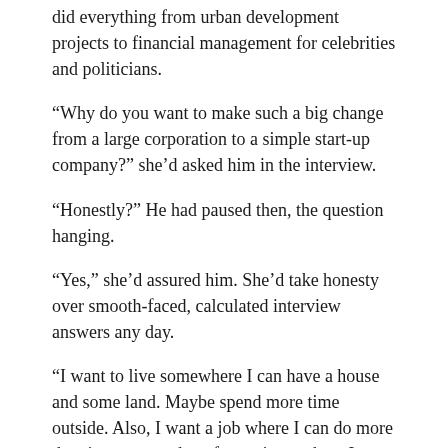did everything from urban development projects to financial management for celebrities and politicians.
“Why do you want to make such a big change from a large corporation to a simple start-up company?” she’d asked him in the interview.
“Honestly?” He had paused then, the question hanging.
“Yes,” she’d assured him. She’d take honesty over smooth-faced, calculated interview answers any day.
“I want to live somewhere I can have a house and some land. Maybe spend more time outside. Also, I want a job where I can do more than just run numbers for projects where I never see the outcome.”
The last part had seemed to come as a surprise to him. Maybe he hadn’t really known he wanted something more than a change of scenery until he had said it out loud.